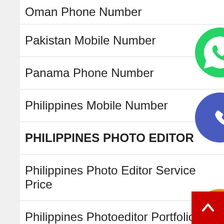Oman Phone Number
Pakistan Mobile Number
Panama Phone Number
Philippines Mobile Number
PHILIPPINES PHOTO EDITOR
Philippines Photo Editor Service Price
Philippines Photoeditor Portfolio
Phone Number Database
Phone Number List
[Figure (infographic): Floating social media and messaging app icons: WhatsApp (green), phone/Viber-blue circle, email/orange envelope, LINE (green), Viber (purple), close/X (green)]